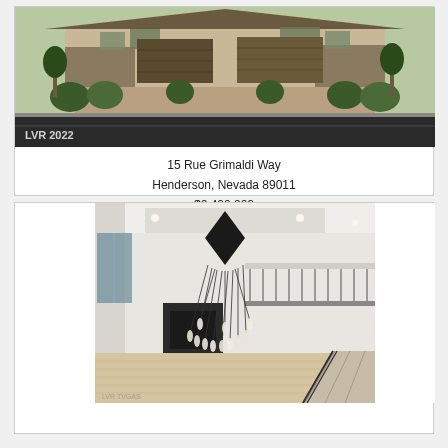[Figure (photo): Exterior view of a luxury home at 15 Rue Grimaldi Way, showing stone and stucco facade with three-car garage, desert landscaping with shrubs and trees, brick-paved driveway. Watermark 'LVR 2022' in bottom left.]
15 Rue Grimaldi Way
Henderson, Nevada 89011
$2,400,000
[Figure (photo): Interior view of a luxury home showing a two-story open foyer with a dramatic cascading modern chandelier with many glass pendant lights, a mezzanine level with metal railings, open staircase, and light wood flooring. Watermark visible in bottom left corner.]